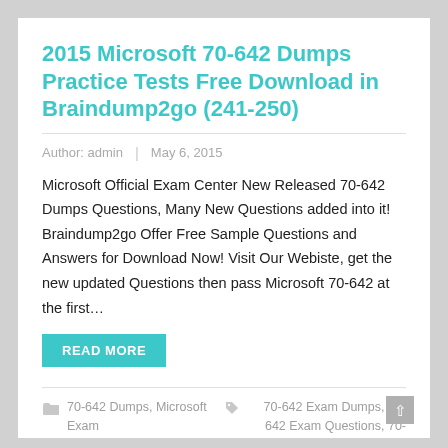2015 Microsoft 70-642 Dumps Practice Tests Free Download in Braindump2go (241-250)
Author: admin  |  May 6, 2015
Microsoft Official Exam Center New Released 70-642 Dumps Questions, Many New Questions added into it! Braindump2go Offer Free Sample Questions and Answers for Download Now! Visit Our Webiste, get the new updated Questions then pass Microsoft 70-642 at the first…
READ MORE
70-642 Dumps, Microsoft Exam
70-642 Exam Dumps, 70-642 Exam Questions, 70-642 PDF, 70-642 Practice Tests, 70-642 Study Guide, 70-642 VCE